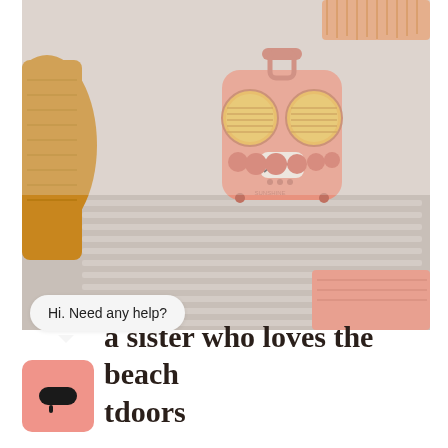[Figure (photo): A pink retro-style portable Bluetooth speaker with two large yellow circular speaker grilles resembling eyes, pink control buttons, and a carry handle, sitting on a slatted metal shelf. A yellow cushion/blanket is visible on the left and pink fabric on the bottom right.]
Hi. Need any help?
[Figure (logo): A salmon/coral colored square icon with a dark pill-shaped speech bubble icon]
a sister who loves the beach tdoors